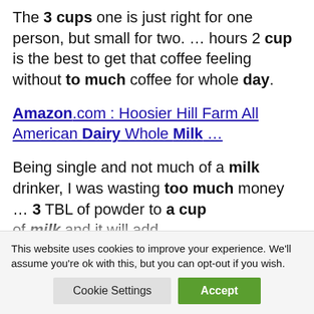The 3 cups one is just right for one person, but small for two. ... hours 2 cup is the best to get that coffee feeling without to much coffee for whole day.
Amazon.com : Hoosier Hill Farm All American Dairy Whole Milk ...
Being single and not much of a milk drinker, I was wasting too much money ... 3 TBL of powder to a cup of milk...
This website uses cookies to improve your experience. We'll assume you're ok with this, but you can opt-out if you wish.